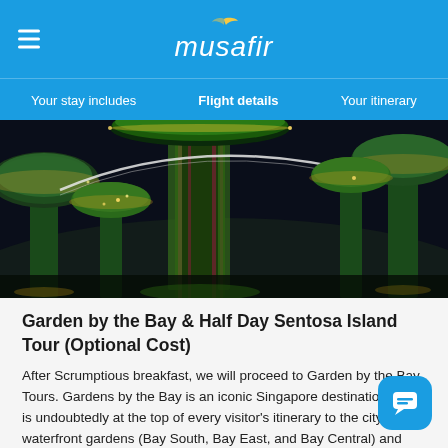musafir
Your stay includes | Flight details | Your itinerary
[Figure (photo): Night-time photo of illuminated Supertree structures at Gardens by the Bay, Singapore, with green vertical gardens and glowing lights against dark sky]
Garden by the Bay & Half Day Sentosa Island Tour (Optional Cost)
After Scrumptious breakfast, we will proceed to Garden by the Bay Tours. Gardens by the Bay is an iconic Singapore destination and is undoubtedly at the top of every visitor’s itinerary to the city. Its waterfront gardens (Bay South, Bay East, and Bay Central) and conservatories (the Flower Dome and Cloud Forest) as well. Later we will proceed for Half Day Tour of Sentosa Island. Start Sentosa Tour with Cable Car ride into the island visit the Madame Tussauds with Images of Singapore,